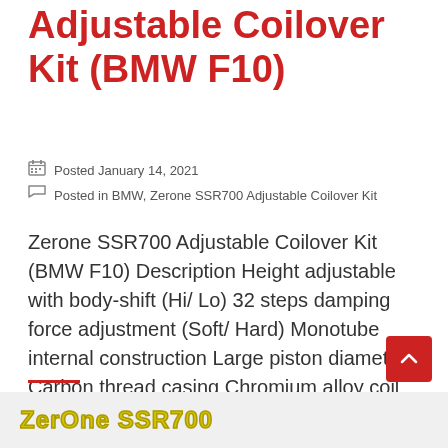Adjustable Coilover Kit (BMW F10)
Posted January 14, 2021
Posted in BMW, Zerone SSR700 Adjustable Coilover Kit
Zerone SSR700 Adjustable Coilover Kit (BMW F10) Description Height adjustable with body-shift (Hi/ Lo) 32 steps damping force adjustment (Soft/ Hard) Monotube internal construction Large piston diameter Carbon thread casing Chromium alloy coil spring Serviceable 1-year warranty Order now
[Figure (logo): ZerOne SSR700 logo text in yellow/gold bold font on light grey background]